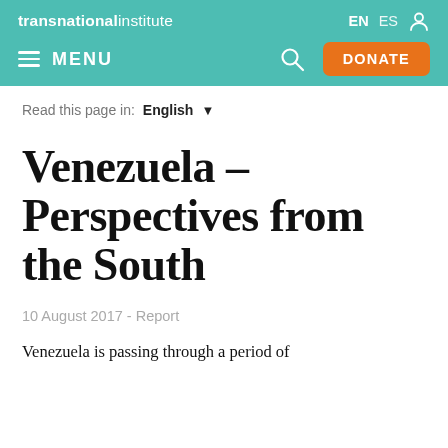transnational institute  EN  ES
MENU  [search icon]  DONATE
Read this page in:  English ▾
Venezuela – Perspectives from the South
10 August 2017  -  Report
Venezuela is passing through a period of